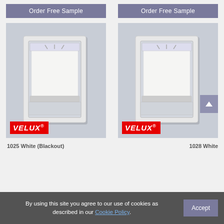Order Free Sample
Order Free Sample
[Figure (photo): VELUX skylight window with white blackout blind, product image on grey background]
[Figure (photo): VELUX skylight window with white blind, product image on grey background with scroll-up button overlay]
1025 White (Blackout)
1028 White
By using this site you agree to our use of cookies as described in our Cookie Policy.
Accept